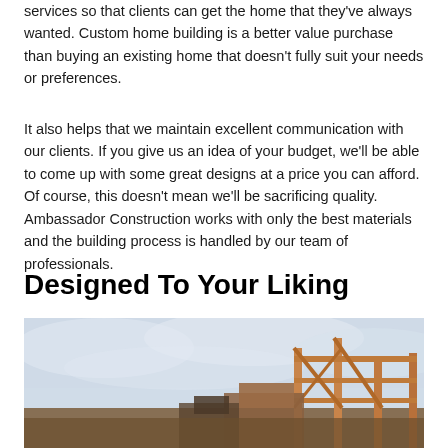services so that clients can get the home that they've always wanted. Custom home building is a better value purchase than buying an existing home that doesn't fully suit your needs or preferences.
It also helps that we maintain excellent communication with our clients. If you give us an idea of your budget, we'll be able to come up with some great designs at a price you can afford. Of course, this doesn't mean we'll be sacrificing quality. Ambassador Construction works with only the best materials and the building process is handled by our team of professionals.
Designed To Your Liking
[Figure (photo): A construction site photo showing wooden framing/structure of a building under construction against a light cloudy sky background.]